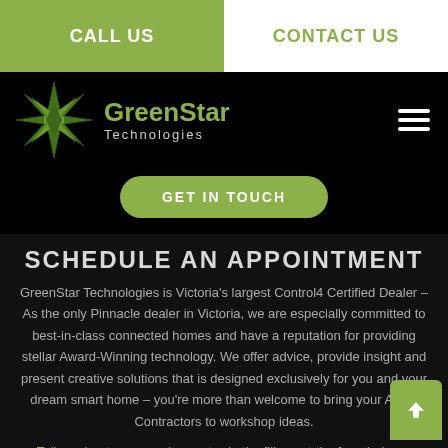CALL US | CONTACT US
[Figure (logo): GreenStar Technologies logo with star icon]
GET IN TOUCH
SCHEDULE AN APPOINTMENT
GreenStar Technologies is Victoria's largest Control4 Certified Dealer – As the only Pinnacle dealer in Victoria, we are especially committed to best-in-class connected homes and have a reputation for providing stellar Award-Winning technology. We offer advice, provide insight and present creative solutions that is designed exclusively for you and your dream smart home – you're more than welcome to bring your Architects and Contractors to workshop ideas.
Tell us about your requirements via the filing out the form below...